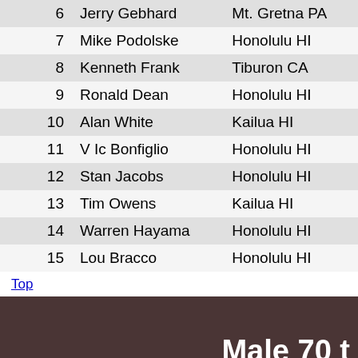| Place | Name | City |
| --- | --- | --- |
| 6 | Jerry Gebhard | Mt. Gretna PA |
| 7 | Mike Podolske | Honolulu HI |
| 8 | Kenneth Frank | Tiburon CA |
| 9 | Ronald Dean | Honolulu HI |
| 10 | Alan White | Kailua HI |
| 11 | V Ic Bonfiglio | Honolulu HI |
| 12 | Stan Jacobs | Honolulu HI |
| 13 | Tim Owens | Kailua HI |
| 14 | Warren Hayama | Honolulu HI |
| 15 | Lou Bracco | Honolulu HI |
Top
Male 70 t
| Place | Name | City |
| --- | --- | --- |
| 1 | Cappy Sheeley | Honolulu HI |
| 2 | Uli Klinke | Honolulu HI |